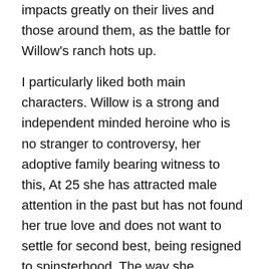impacts greatly on their lives and those around them, as the battle for Willow's ranch hots up.
I particularly liked both main characters. Willow is a strong and independent minded heroine who is no stranger to controversy, her adoptive family bearing witness to this, At 25 she has attracted male attention in the past but has not found her true love and does not want to settle for second best, being resigned to spinsterhood. The way she encourages Lobo to open up to her, revealing his traumatic past and little by little peels away his protective layers, to find the true heart of the man underneath, is a joy to behold, Willow is also kind hearted and supportive of her adoptive family who have all had their own share of personal trauma. The references to Greek mythology throughout the book concerning the adventures of Odysseus and his quest to be reunited with his Penelope